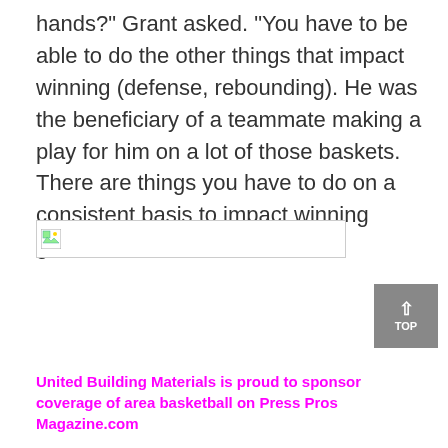hands?" Grant asked. "You have to be able to do the other things that impact winning (defense, rebounding). He was the beneficiary of a teammate making a play for him on a lot of those baskets. There are things you have to do on a consistent basis to impact winning games.
[Figure (other): Broken image placeholder with small image icon]
United Building Materials is proud to sponsor coverage of area basketball on Press Pros Magazine.com